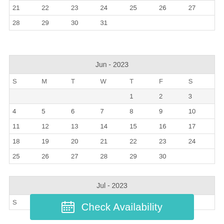| 21 | 22 | 23 | 24 | 25 | 26 | 27 |
| 28 | 29 | 30 | 31 |  |  |  |
| S | M | T | W | T | F | S |
| --- | --- | --- | --- | --- | --- | --- |
|  |  |  |  | 1 | 2 | 3 |
| 4 | 5 | 6 | 7 | 8 | 9 | 10 |
| 11 | 12 | 13 | 14 | 15 | 16 | 17 |
| 18 | 19 | 20 | 21 | 22 | 23 | 24 |
| 25 | 26 | 27 | 28 | 29 | 30 |  |
| S | M | T | W | T | F | S |
| --- | --- | --- | --- | --- | --- | --- |
Check Availability